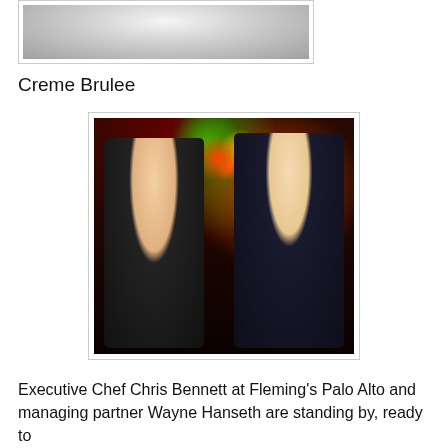[Figure (photo): Close-up photo of a Creme Brulee dessert on a white plate, partially visible at top of page]
Creme Brulee
[Figure (photo): Two men standing together holding wine glasses in a restaurant setting with colorful tropical flowers in the background. The man on the left wears a black chef uniform and hat, the man on the right wears a dark suit with a burgundy tie.]
Executive Chef Chris Bennett at Fleming's Palo Alto and managing partner Wayne Hanseth are standing by, ready to